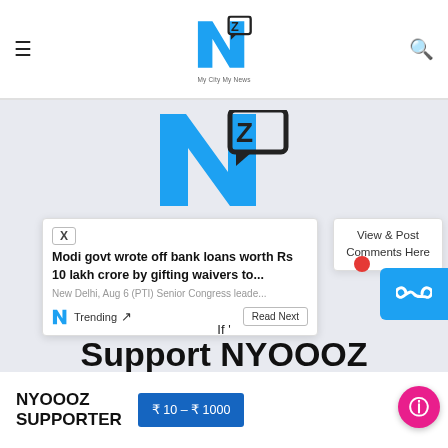NYOOOZ – My City My News (header navigation)
[Figure (logo): NYOOOZ large logo in blue with Z speech bubble, shown in content area center]
X
Modi govt wrote off bank loans worth Rs 10 lakh crore by gifting waivers to...
New Delhi, Aug 6 (PTI) Senior Congress leade...
Trending   Read Next
View & Post Comments Here
If '          '
Support NYOOOZ
NYOOOZ SUPPORTER
₹ 10 – ₹ 1000